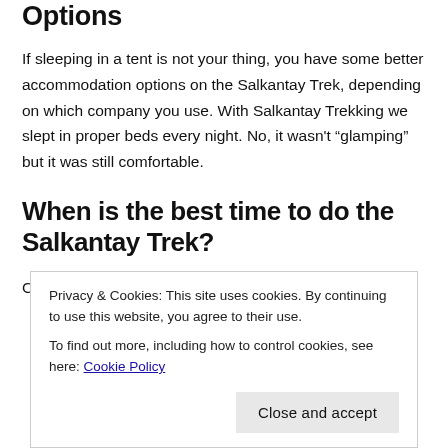Options
If sleeping in a tent is not your thing, you have some better accommodation options on the Salkantay Trek, depending on which company you use. With Salkantay Trekking we slept in proper beds every night. No, it wasn’t “glamping” but it was still comfortable.
When is the best time to do the Salkantay Trek?
Cusco has only two seasons, wet and dry. Of course,
Privacy & Cookies: This site uses cookies. By continuing to use this website, you agree to their use.
To find out more, including how to control cookies, see here: Cookie Policy
Close and accept